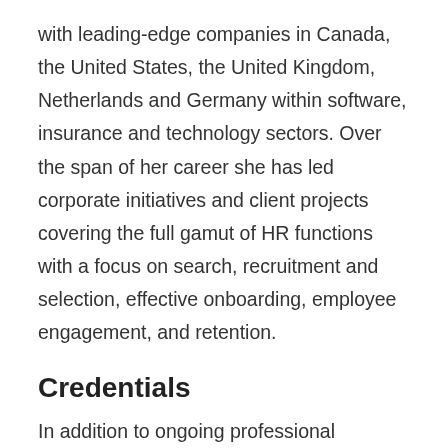with leading-edge companies in Canada, the United States, the United Kingdom, Netherlands and Germany within software, insurance and technology sectors. Over the span of her career she has led corporate initiatives and client projects covering the full gamut of HR functions with a focus on search, recruitment and selection, effective onboarding, employee engagement, and retention.
Credentials
In addition to ongoing professional development activities, Melissa holds a Masters of Public Policy from the University of Toronto and an